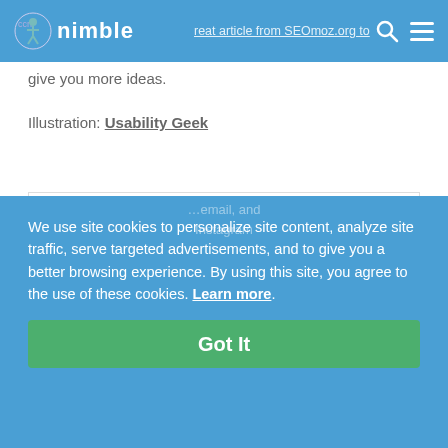nimble — great article from SEOmoz.org to give you more ideas.
great article from SEOmoz.org to give you more ideas.
Illustration: Usability Geek
[Figure (other): Empty white advertisement or content box with light border]
We use site cookies to personalize site content, analyze site traffic, serve targeted advertisements, and to give you a better browsing experience. By using this site, you agree to the use of these cookies. Learn more.
Got It